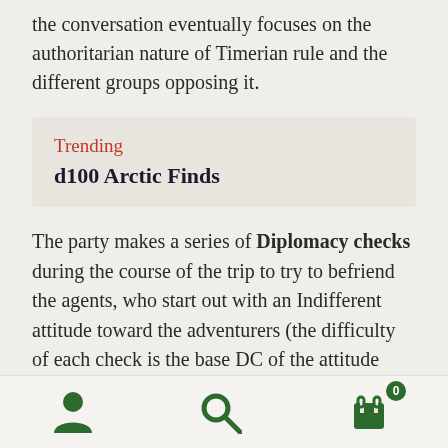the conversation eventually focuses on the authoritarian nature of Timerian rule and the different groups opposing it.
Trending
d100 Arctic Finds
The party makes a series of Diplomacy checks during the course of the trip to try to befriend the agents, who start out with an Indifferent attitude toward the adventurers (the difficulty of each check is the base DC of the attitude +7.) On a failure of 5 or more, an agent's attitude drops by one step, and on a success, it